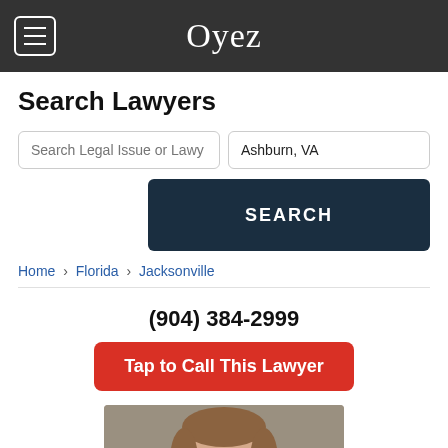Oyez
Search Lawyers
Search Legal Issue or Lawy | Ashburn, VA
SEARCH
Home › Florida › Jacksonville
(904) 384-2999
Tap to Call This Lawyer
[Figure (photo): Headshot of a woman with shoulder-length brown hair against a gray background]